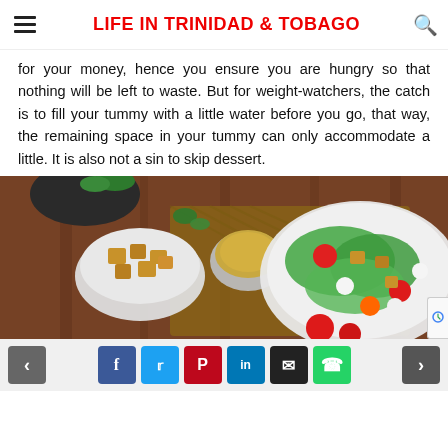LIFE IN TRINIDAD & TOBAGO
for your money, hence you ensure you are hungry so that nothing will be left to waste. But for weight-watchers, the catch is to fill your tummy with a little water before you go, that way, the remaining space in your tummy can only accommodate a little. It is also not a sin to skip dessert.
[Figure (photo): Overhead view of a fresh salad in a white plate with tomatoes, lettuce, croutons and mozzarella balls on a wooden table, with a small bowl of croutons and a bowl of dressing nearby]
Social sharing buttons: previous, Facebook, Twitter, Pinterest, LinkedIn, Email, WhatsApp, next